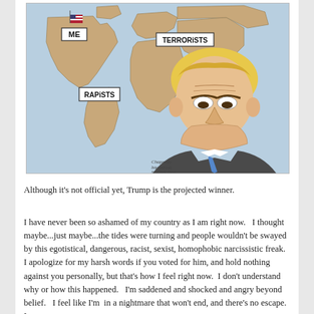[Figure (illustration): Political cartoon showing a world map with labels 'ME' (on North America/US with a small American flag), 'RAPISTS' (on Latin America), and 'TERRORISTS' (on Europe/Middle East). A caricature of Donald Trump with blond hair, furrowed brow, and blue tie stands in the foreground looking downward. Artist signature reads 'Chappatte International New York Times'.]
Although it's not official yet, Trump is the projected winner.
I have never been so ashamed of my country as I am right now.   I thought maybe...just maybe...the tides were turning and people wouldn't be swayed by this egotistical, dangerous, racist, sexist, homophobic narcissistic freak.   I apologize for my harsh words if you voted for him, and hold nothing against you personally, but that's how I feel right now.  I don't understand why or how this happened.   I'm saddened and shocked and angry beyond belief.   I feel like I'm  in a nightmare that won't end, and there's no escape.  I